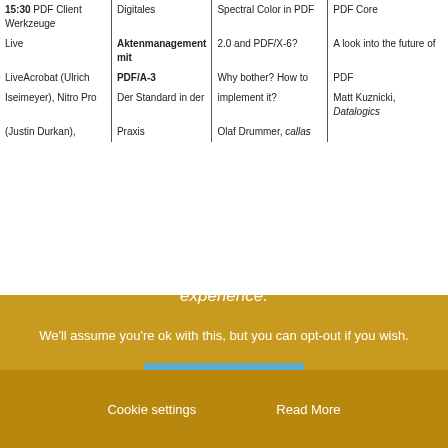| Time/Column1 | Column2 | Column3 | Column4 |
| --- | --- | --- | --- |
| 15:30 PDF Client Werkzeuge | Digitales | Spectral Color in PDF | PDF Core |
| Live | Aktenmanagement mit | 2.0 and PDF/X-6? | A look into the future of |
| LiveAcrobat (Ulrich | PDF/A-3 | Why bother? How to | PDF |
| Iseimeyer), Nitro Pro | Der Standard in der | implement it? | Matt Kuznicki, Datalogics |
| (Justin Durkan), | Praxis | Olaf Drummer, callas |  |
This website uses cookies to improve your experience.
We'll assume you're ok with this, but you can opt-out if you wish.
ACCEPT
Cookie settings
Read More
In addition to the Scientific Symposium, like to provide the pre conference on June 13!
Location: CLS Congress, Radisson...